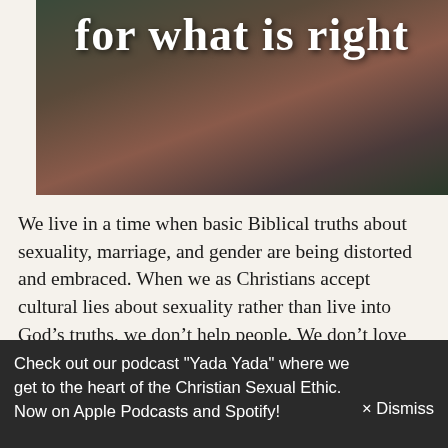[Figure (photo): Photo of two people embracing outdoors with overlaid white bold text reading 'for what is right']
We live in a time when basic Biblical truths about sexuality, marriage, and gender are being distorted and embraced. When we as Christians accept cultural lies about sexuality rather than live into God's truths, we don't help people. We don't love people. We support their bondage. As Christians, we must be convicted by God's truths about sexuality and be diligent in guarding our hearts
Check out our podcast "Yada Yada" where we get to the heart of the Christian Sexual Ethic. Now on Apple Podcasts and Spotify!   × Dismiss